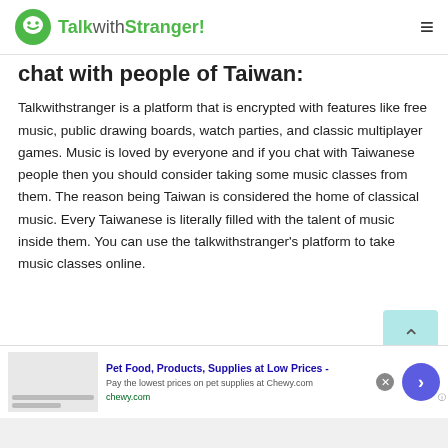TalkwithStranger!
chat with people of Taiwan:
Talkwithstranger is a platform that is encrypted with features like free music, public drawing boards, watch parties, and classic multiplayer games. Music is loved by everyone and if you chat with Taiwanese people then you should consider taking some music classes from them. The reason being Taiwan is considered the home of classical music. Every Taiwanese is literally filled with the talent of music inside them. You can use the talkwithstranger's platform to take music classes online.
[Figure (other): Advertisement banner for Chewy.com pet supplies]
Pet Food, Products, Supplies at Low Prices - Pay the lowest prices on pet supplies at Chewy.com chewy.com